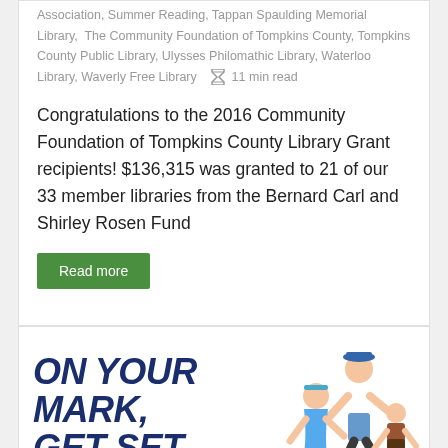Association, Summer Reading, Tappan Spaulding Memorial Library, The Community Foundation of Tompkins County, Tompkins County Public Library, Ulysses Philomathic Library, Waterloo Library, Waverly Free Library   ⧗ 11 min read
Congratulations to the 2016 Community Foundation of Tompkins County Library Grant recipients! $136,315 was granted to 21 of our 33 member libraries from the Bernard Carl and Shirley Rosen Fund
Read more
[Figure (illustration): Summer reading promotional image showing 'ON YOUR MARK, GET SET... READ!' text in bold dark blue and light blue colors with cartoon children running]